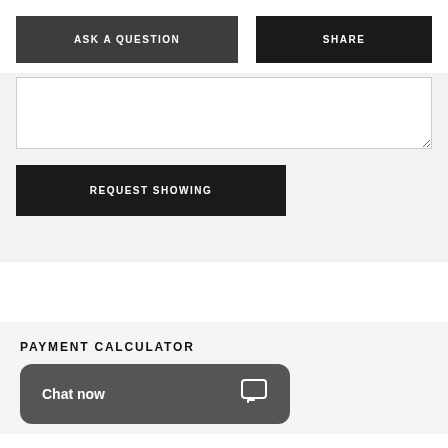ASK A QUESTION
SHARE
[Figure (other): Text input textarea box]
REQUEST SHOWING
PAYMENT CALCULATOR
Chat now